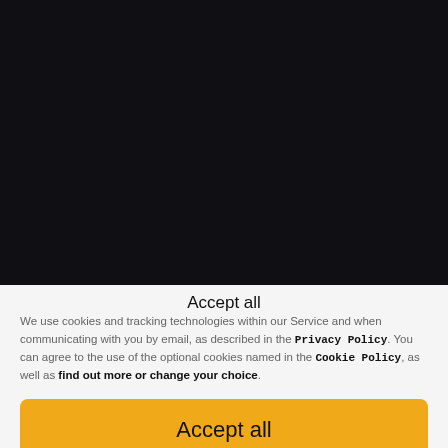[Figure (screenshot): Dark background area representing a web page or video content behind a cookie consent overlay]
Accept all
We use cookies and tracking technologies within our Service and when communicating with you by email, as described in the Privacy Policy. You can agree to the use of the optional cookies named in the Cookie Policy, as well as find out more or change your choice.
Accept all